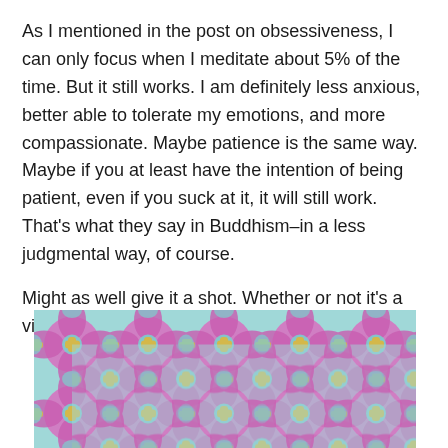As I mentioned in the post on obsessiveness, I can only focus when I meditate about 5% of the time. But it still works. I am definitely less anxious, better able to tolerate my emotions, and more compassionate. Maybe patience is the same way. Maybe if you at least have the intention of being patient, even if you suck at it, it will still work. That's what they say in Buddhism–in a less judgmental way, of course.
Might as well give it a shot. Whether or not it's a virtue, it's still a good quality to have.
[Figure (illustration): A decorative tiled pattern featuring pink/magenta diamond and petal shapes with light blue cross/flower shapes and golden yellow cross motifs on a pastel background, repeating across the image.]